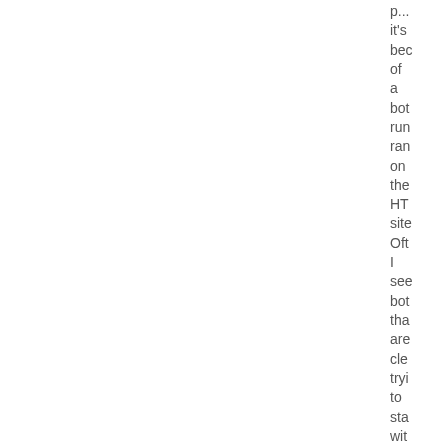p... it's bec of a bot run ran on the HT site Oft I see bot tha are cle tryi to sta wit the rule